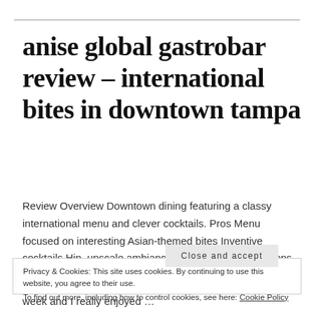anise global gastrobar review – international bites in downtown tampa
Review Overview Downtown dining featuring a classy international menu and clever cocktails. Pros Menu focused on interesting Asian-themed bites Inventive cocktails Hip, upscale ambiance with a late-night DJ Cons
Privacy & Cookies: This site uses cookies. By continuing to use this website, you agree to their use.
To find out more, including how to control cookies, see here: Cookie Policy
Close and accept
week and I really enjoyed …